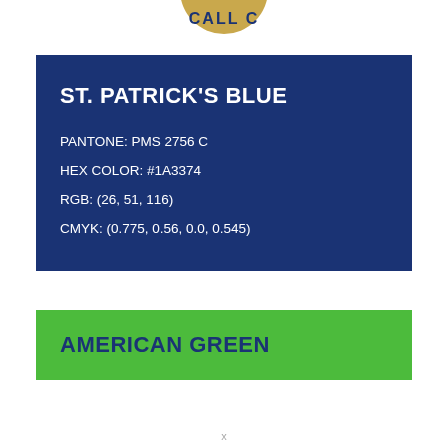[Figure (logo): Partial view of a circular gold badge/seal at the top of the page, partially cropped]
ST. PATRICK'S BLUE
PANTONE: PMS 2756 C
HEX COLOR: #1A3374
RGB: (26, 51, 116)
CMYK: (0.775, 0.56, 0.0, 0.545)
AMERICAN GREEN